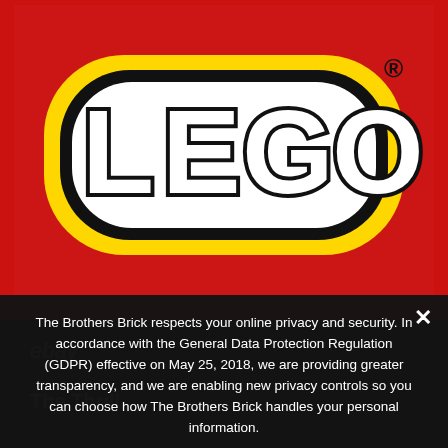[Figure (logo): LEGO logo on red background — large white bubble letters spelling LEGO with black outline and yellow inner border, registered trademark symbol top right]
The Brothers Brick respects your online privacy and security. In accordance with the General Data Protection Regulation (GDPR) effective on May 25, 2018, we are providing greater transparency, and we are enabling new privacy controls so you can choose how The Brothers Brick handles your personal information.
❯ Privacy Preferences
I Agree